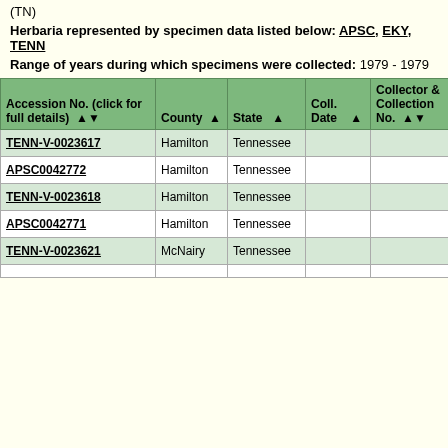(TN)
Herbaria represented by specimen data listed below: APSC, EKY, TENN
Range of years during which specimens were collected: 1979 - 1979
| Accession No. (click for full details) | County | State | Coll. Date | Collector & Collection No. | Herb. Herb. Name |
| --- | --- | --- | --- | --- | --- |
| TENN-V-0023617 | Hamilton | Tennessee |  |  | TENN Sacc... |
| APSC0042772 | Hamilton | Tennessee |  |  | APSC Sacc... |
| TENN-V-0023618 | Hamilton | Tennessee |  |  | TENN Sacc... |
| APSC0042771 | Hamilton | Tennessee |  |  | APSC Sacc... |
| TENN-V-0023621 | McNairy | Tennessee |  |  | TENN Sacc... |
|  |  |  |  |  | APSC... |